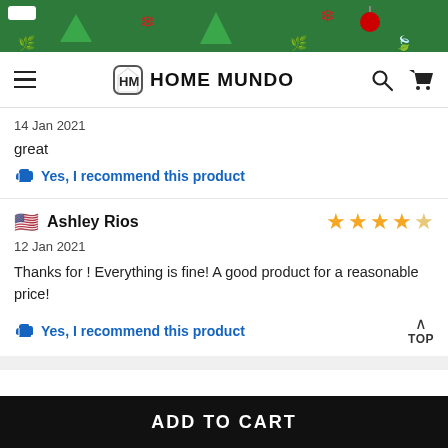[Figure (illustration): Christmas themed banner with green background, Christmas trees, snowflakes, ornaments and holly decorations]
HOME MUNDO
14 Jan 2021
great
Yes, I recommend this product
Ashley Rios
12 Jan 2021
Thanks for ! Everything is fine! A good product for a reasonable price!
Yes, I recommend this product
TOP
ADD TO CART